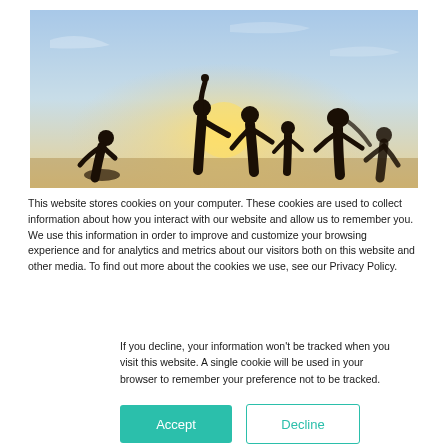[Figure (photo): Group of people silhouetted against a sunset at the beach, with arms raised in celebration]
This website stores cookies on your computer. These cookies are used to collect information about how you interact with our website and allow us to remember you. We use this information in order to improve and customize your browsing experience and for analytics and metrics about our visitors both on this website and other media. To find out more about the cookies we use, see our Privacy Policy.
If you decline, your information won't be tracked when you visit this website. A single cookie will be used in your browser to remember your preference not to be tracked.
Accept   Decline